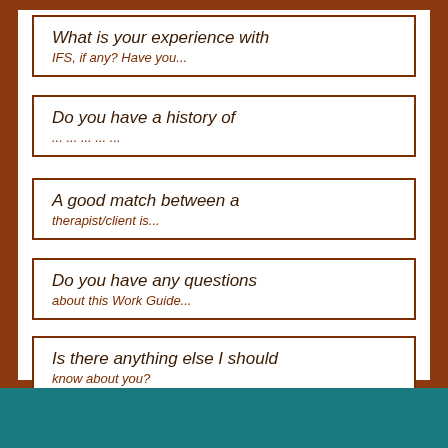What is your experience with IFS, if any? Have you...
Do you have a history of ...
A good match between a therapist/client is...
Do you have any questions about this Work Guide...
Is there anything else I should know about you?
Submit